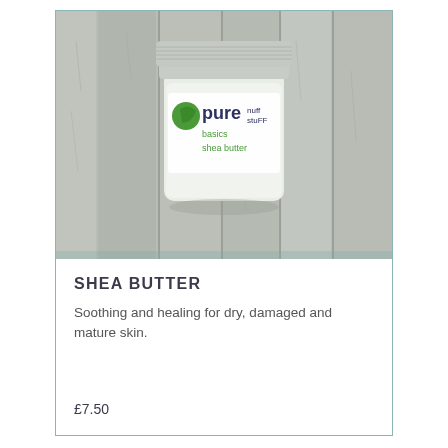[Figure (photo): A glass jar of 'pure nuff stuff basics shea butter' product placed on a weathered wooden surface. The jar has a silver metal lid and a white label with green and dark blue text.]
SHEA BUTTER
Soothing and healing for dry, damaged and mature skin.
£7.50